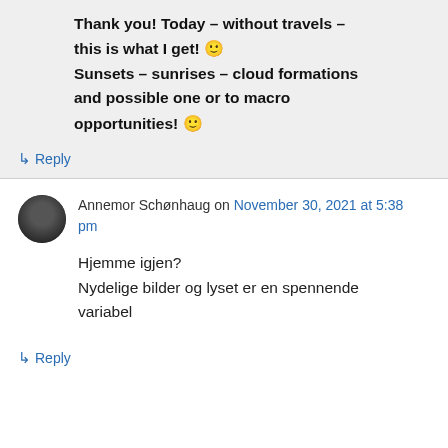Thank you! Today – without travels – this is what I get! 🙂 Sunsets – sunrises – cloud formations and possible one or to macro opportunities! 🙂
↳ Reply
Annemor Schønhaug on November 30, 2021 at 5:38 pm
Hjemme igjen?
Nydelige bilder og lyset er en spennende variabel
↳ Reply